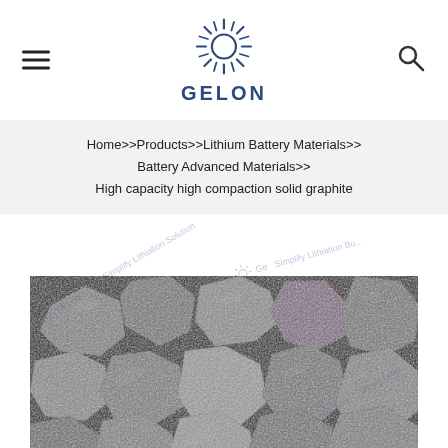GELON
Home>>Products>>Lithium Battery Materials>>Battery Advanced Materials>>High capacity high compaction solid graphite
[Figure (photo): Scanning electron microscope (SEM) image of high capacity high compaction solid graphite particles, showing irregular angular graphite granules in grayscale at high magnification. Multiple GELON watermarks overlaid.]